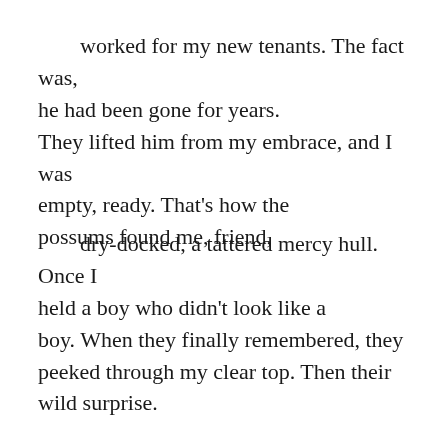worked for my new tenants. The fact was, he had been gone for years. They lifted him from my embrace, and I was empty, ready. That's how the possums found me, friend,
dry-docked, a tattered mercy hull. Once I held a boy who didn't look like a boy. When they finally remembered, they peeked through my clear top. Then their wild surprise.